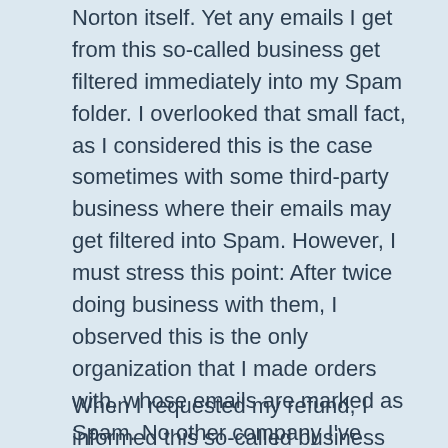Norton itself. Yet any emails I get from this so-called business get filtered immediately into my Spam folder. I overlooked that small fact, as I considered this is the case sometimes with some third-party business where their emails may get filtered into Spam. However, I must stress this point: After twice doing business with them, I observed this is the only organization that I made orders with, whose emails are marked as Spam. No other company I've done business with in the past several years sends me emails that have been received and sent directly to my spam folder.
When I requested my refund, I informed this so-called business that my original payment method had been compromised. They seemed not to